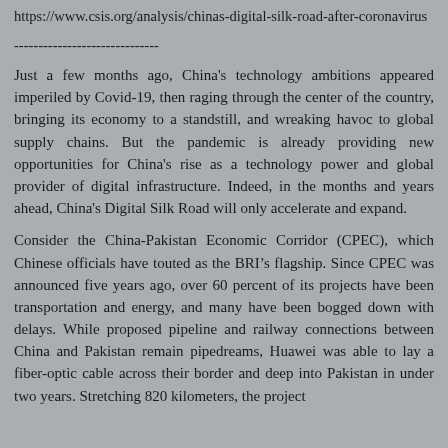https://www.csis.org/analysis/chinas-digital-silk-road-after-coronavirus
------------------------------
Just a few months ago, China's technology ambitions appeared imperiled by Covid-19, then raging through the center of the country, bringing its economy to a standstill, and wreaking havoc to global supply chains. But the pandemic is already providing new opportunities for China's rise as a technology power and global provider of digital infrastructure. Indeed, in the months and years ahead, China's Digital Silk Road will only accelerate and expand.
Consider the China-Pakistan Economic Corridor (CPEC), which Chinese officials have touted as the BRI’s flagship. Since CPEC was announced five years ago, over 60 percent of its projects have been transportation and energy, and many have been bogged down with delays. While proposed pipeline and railway connections between China and Pakistan remain pipedreams, Huawei was able to lay a fiber-optic cable across their border and deep into Pakistan in under two years. Stretching 820 kilometers, the project